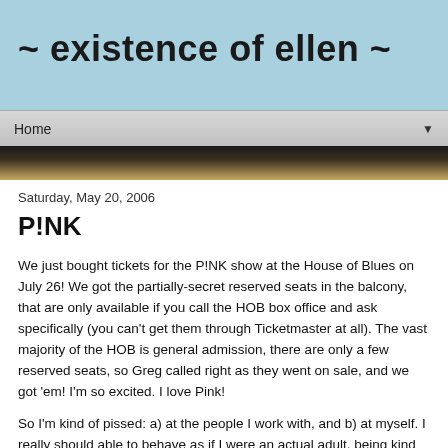~ existence of ellen ~
Home
Saturday, May 20, 2006
P!NK
We just bought tickets for the P!NK show at the House of Blues on July 26! We got the partially-secret reserved seats in the balcony, that are only available if you call the HOB box office and ask specifically (you can't get them through Ticketmaster at all). The vast majority of the HOB is general admission, there are only a few reserved seats, so Greg called right as they went on sale, and we got 'em! I'm so excited. I love Pink!
So I'm kind of pissed: a) at the people I work with, and b) at myself. I really should able to behave as if I were an actual adult, being kind and understanding and NOT being selfish...